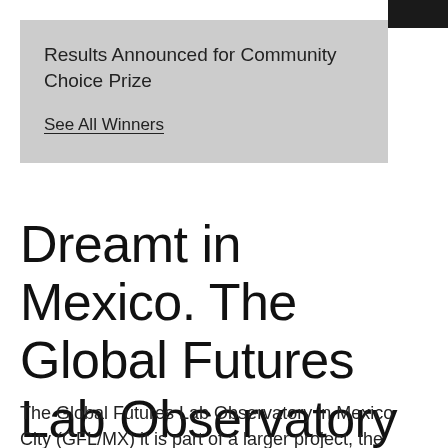Results Announced for Community Choice Prize
See All Winners
Dreamt in Mexico. The Global Futures Lab Observatory in Mexico City
The Global Futures Lab Observatory in Mexico City (GFL/MX) it is part of a larger project, the